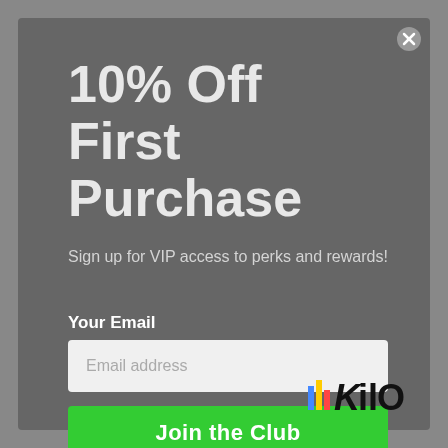10% Off First Purchase
Sign up for VIP access to perks and rewards!
Your Email
Email address
Join the Club
[Figure (logo): 1Kilo brand logo in black text at the bottom right of the modal]